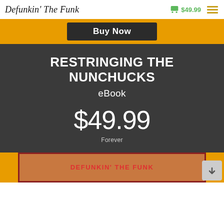Defunkin' The Funk  $49.99
Buy Now
RESTRINGING THE NUNCHUCKS
eBook
$49.99
Forever
[Figure (photo): Bottom banner showing book cover image with text DEFUNKIN' THE FUNK in red, with orange border background]